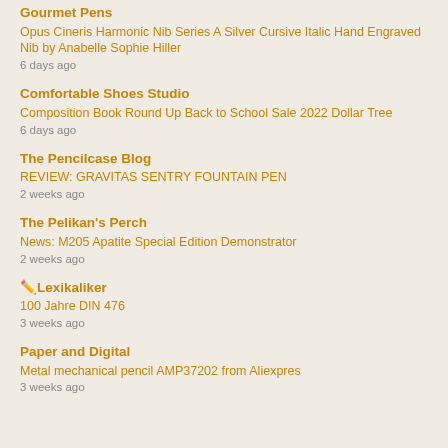Gourmet Pens | Opus Cineris Harmonic Nib Series A Silver Cursive Italic Hand Engraved Nib by Anabelle Sophie Hiller | 6 days ago
Comfortable Shoes Studio | Composition Book Round Up Back to School Sale 2022 Dollar Tree | 6 days ago
The Pencilcase Blog | REVIEW: GRAVITAS SENTRY FOUNTAIN PEN | 2 weeks ago
The Pelikan's Perch | News: M205 Apatite Special Edition Demonstrator | 2 weeks ago
✏️Lexikaliker | 100 Jahre DIN 476 | 3 weeks ago
Paper and Digital | Metal mechanical pencil AMP37202 from Aliexpres | 3 weeks ago